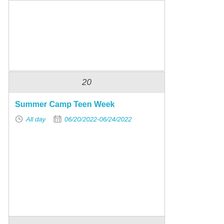20
Summer Camp Teen Week
All day  06/20/2022-06/24/2022